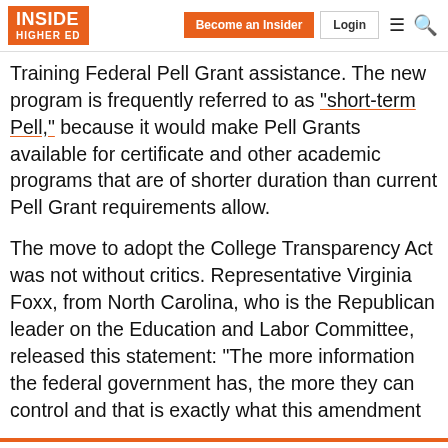INSIDE HIGHER ED | Become an Insider | Login
Training Federal Pell Grant assistance. The new program is frequently referred to as "short-term Pell," because it would make Pell Grants available for certificate and other academic programs that are of shorter duration than current Pell Grant requirements allow.
The move to adopt the College Transparency Act was not without critics. Representative Virginia Foxx, from North Carolina, who is the Republican leader on the Education and Labor Committee, released this statement: “The more information the federal government has, the more they can control and that is exactly what this amendment
4 of 5 articles left this month.
Sign up for a free account or Log in.